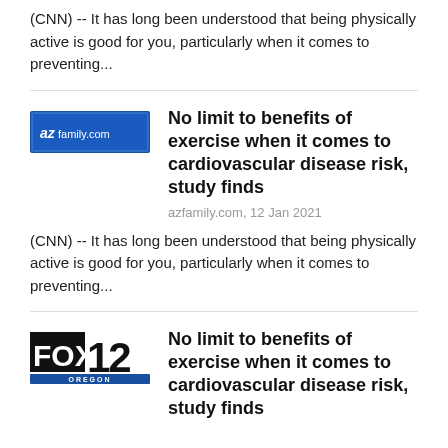(CNN) -- It has long been understood that being physically active is good for you, particularly when it comes to preventing...
[Figure (logo): azfamily.com logo - blue rectangular logo with 'az-family.com' text]
No limit to benefits of exercise when it comes to cardiovascular disease risk, study finds
azfamily.com, 12 Jan 2021
(CNN) -- It has long been understood that being physically active is good for you, particularly when it comes to preventing...
[Figure (logo): FOX 12 Oregon logo - black and white Fox 12 Oregon logo]
No limit to benefits of exercise when it comes to cardiovascular disease risk, study finds